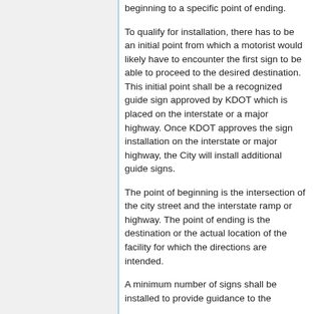beginning to a specific point of ending.
To qualify for installation, there has to be an initial point from which a motorist would likely have to encounter the first sign to be able to proceed to the desired destination. This initial point shall be a recognized guide sign approved by KDOT which is placed on the interstate or a major highway. Once KDOT approves the sign installation on the interstate or major highway, the City will install additional guide signs.
The point of beginning is the intersection of the city street and the interstate ramp or highway. The point of ending is the destination or the actual location of the facility for which the directions are intended.
A minimum number of signs shall be installed to provide guidance to the